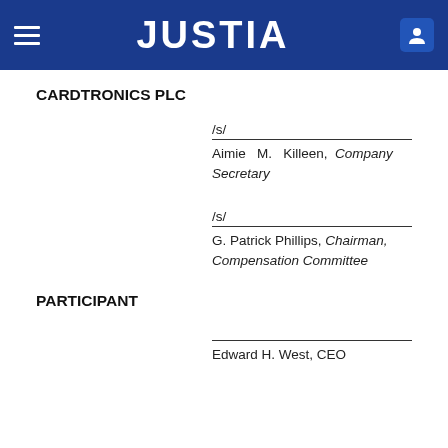JUSTIA
CARDTRONICS PLC
/s/
Aimie M. Killeen, Company Secretary
/s/
G. Patrick Phillips, Chairman, Compensation Committee
PARTICIPANT
Edward H. West, CEO